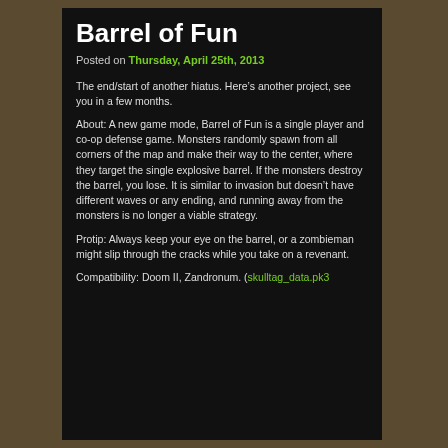Barrel of Fun
Posted on Thursday, April 25th, 2013
The end/start of another hiatus. Here’s another project, see you in a few months.
About: A new game mode, Barrel of Fun is a single player and co-op defense game. Monsters randomly spawn from all corners of the map and make their way to the center, where they target the single explosive barrel. If the monsters destroy the barrel, you lose. It is similar to invasion but doesn’t have different waves or any ending, and running away from the monsters is no longer a viable strategy.
Protip: Always keep your eye on the barrel, or a zombieman might slip through the cracks while you take on a revenant.
Compatibility: Doom II, Zandronum. (skulltag_data.pk3